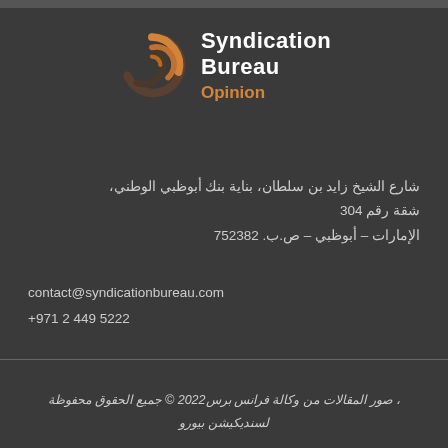[Figure (logo): Syndication Bureau Opinion logo with orange spiral circle graphic and white/orange text]
شارع الشيخ زايد بن سلطان، بناية بنك أبوظبي الوطني، شقة رقم 304
الإمارات – أبوظبي – ص.ب. 752382
contact@syndicationbureau.com
+971 2 449 5222
، صور المقالات من وكالة فرانس برس2022 © جميع الحقوق محفوظة لسنديكيشن بيورو